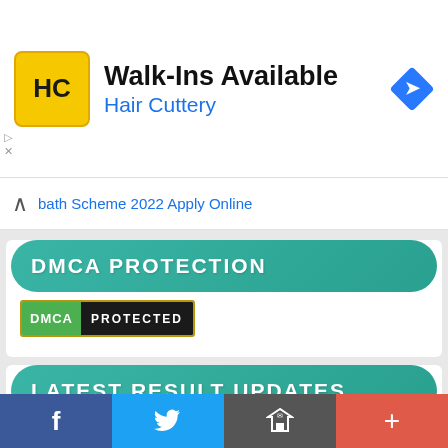[Figure (infographic): Advertisement banner for Hair Cuttery: Walk-Ins Available, with HC logo in yellow square and blue company name. Right side has a blue diamond navigation icon.]
bath Scheme 2022 Apply Online
DMCA PROTECTION
[Figure (logo): DMCA PROTECTED badge with green DMCA text and black PROTECTED text on dark background]
LATEST RESULT UPDATES
Bihar Police Constable 8415 Final Result 2022
Shekhawati University BA Final Result 2022
[Figure (infographic): Bottom social sharing toolbar with Facebook (blue), Twitter (blue), share/email (dark grey), and plus (red-orange) buttons]